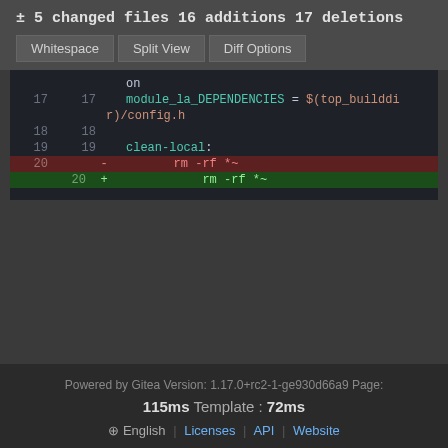± 5 changed files 16 additions 17 deletions
[Figure (screenshot): Code diff viewer showing buttons: Whitespace, Split View, Diff Options, and diff lines for a Makefile. Lines 17-20 shown with a deletion (rm -rf *~) and addition (rm -rf *~) on line 20.]
Powered by Gitea Version: 1.17.0+rc2-1-ge930d66a9 Page: 115ms Template : 72ms ⊕ English | Licenses | API | Website